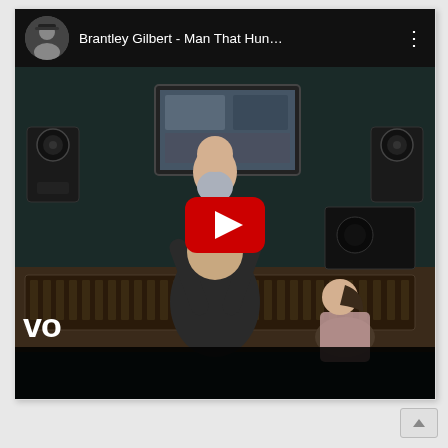[Figure (screenshot): YouTube video player screenshot showing Brantley Gilbert - Man That Hun... video. Header bar with artist avatar, title, and three-dot menu on black background. Video thumbnail shows a man holding a baby above his head in a recording studio, with a woman seated at a mixing console, a large TV screen in background, and studio monitors visible. A VEVO logo watermark appears in lower left. A large red YouTube play button overlay is centered on the video. The bottom portion of the video area shows a black bar.]